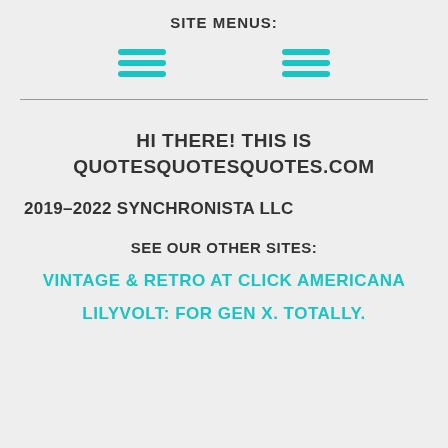SITE MENUS:
[Figure (illustration): Two teal/cyan hamburger menu icons side by side]
HI THERE! THIS IS QUOTESQUOTESQUOTES.COM
2019–2022 SYNCHRONISTA LLC
SEE OUR OTHER SITES:
VINTAGE & RETRO AT CLICK AMERICANA
LILYVOLT: FOR GEN X. TOTALLY.